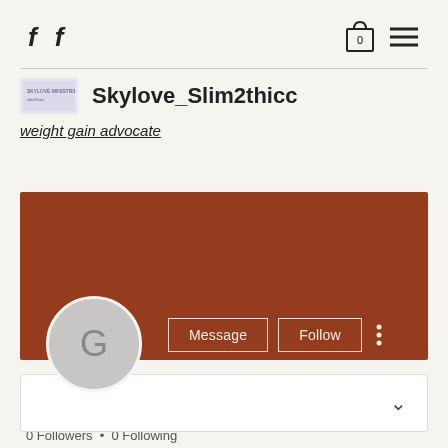f f [shopping bag icon 0] [menu icon]
Skylove_Slim2thicc
weight gain advocate
[Figure (screenshot): Brown banner profile section with Message and Follow buttons, profile circle with letter G]
Gta 5 casino opening particip…
0 Followers • 0 Following